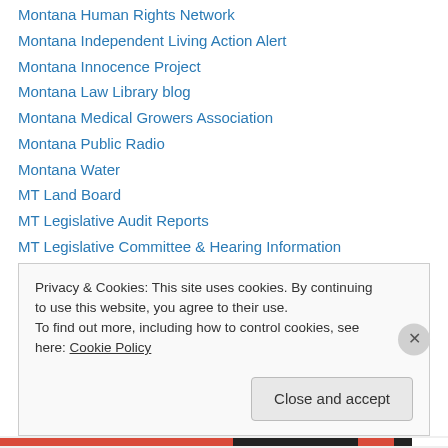Montana Human Rights Network
Montana Independent Living Action Alert
Montana Innocence Project
Montana Law Library blog
Montana Medical Growers Association
Montana Public Radio
Montana Water
MT Land Board
MT Legislative Audit Reports
MT Legislative Committee & Hearing Information
MT Legislative Fiscal Division
MT Legislative Fiscal Division
MT Legislative Webpage
Privacy & Cookies: This site uses cookies. By continuing to use this website, you agree to their use. To find out more, including how to control cookies, see here: Cookie Policy
Close and accept